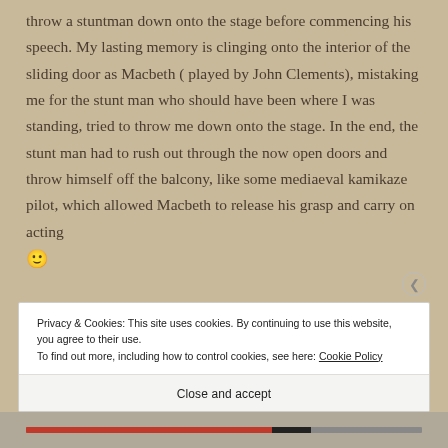throw a stuntman down onto the stage before commencing his speech. My lasting memory is clinging onto the interior of the sliding door as Macbeth ( played by John Clements), mistaking me for the stunt man who should have been where I was standing, tried to throw me down onto the stage. In the end, the stunt man had to rush out through the now open doors and throw himself off the balcony, like some mediaeval kamikaze pilot, which allowed Macbeth to release his grasp and carry on acting 🙂
Privacy & Cookies: This site uses cookies. By continuing to use this website, you agree to their use.
To find out more, including how to control cookies, see here: Cookie Policy
Close and accept